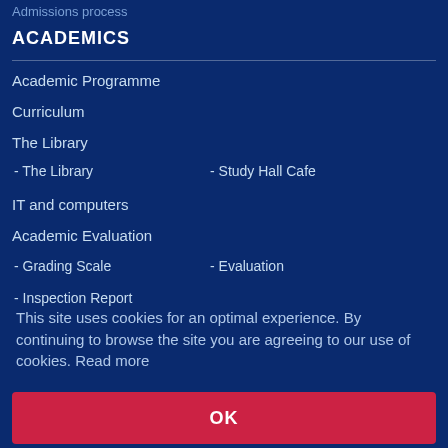Admissions process
ACADEMICS
Academic Programme
Curriculum
The Library
- The Library
- Study Hall Cafe
IT and computers
Academic Evaluation
- Grading Scale
- Evaluation
- Inspection Report
This site uses cookies for an optimal experience. By continuing to browse the site you are agreeing to our use of cookies. Read more
OK